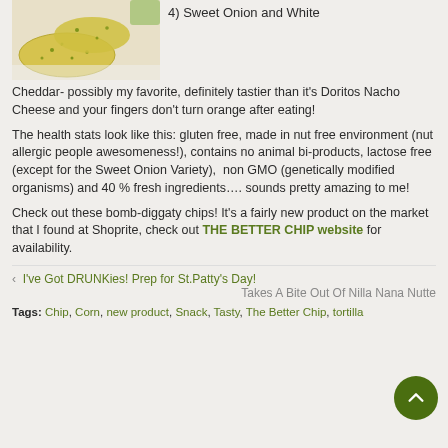[Figure (photo): Photo of yellow-green seasoned tortilla/flatbread chips on a white surface]
4) Sweet Onion and White Cheddar- possibly my favorite, definitely tastier than it's Doritos Nacho Cheese and your fingers don't turn orange after eating!
The health stats look like this: gluten free, made in nut free environment (nut allergic people awesomeness!), contains no animal bi-products, lactose free (except for the Sweet Onion Variety), non GMO (genetically modified organisms) and 40 % fresh ingredients…. sounds pretty amazing to me!
Check out these bomb-diggaty chips! It's a fairly new product on the market that I found at Shoprite, check out THE BETTER CHIP website for availability.
‹ I've Got DRUNKies! Prep for St.Patty's Day!
Takes A Bite Out Of Nilla Nana Nutte
Tags: Chip, Corn, new product, Snack, Tasty, The Better Chip, tortilla